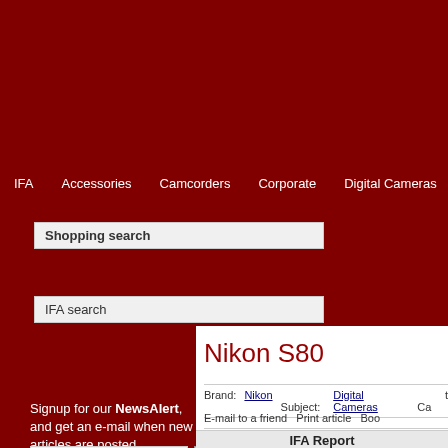IFA  Accessories  Camcorders  Corporate  Digital Cameras  Inte...
Shopping search
IFA search
Signup for our NewsAlert, and get an e-mail when new articles are posted...
E-mail address  Signup
Nikon S80
Brand: Nikon  Subject: Digital Cameras  Ca...
E-mail to a friend  Print article  Boo...
IFA Report